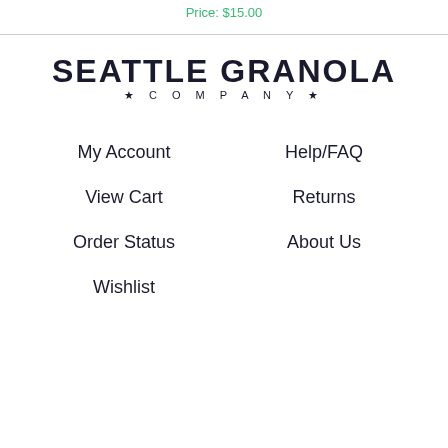Price: $15.00
[Figure (logo): Seattle Granola Company logo with bold uppercase text and star decorations]
My Account
Help/FAQ
View Cart
Returns
Order Status
About Us
Wishlist